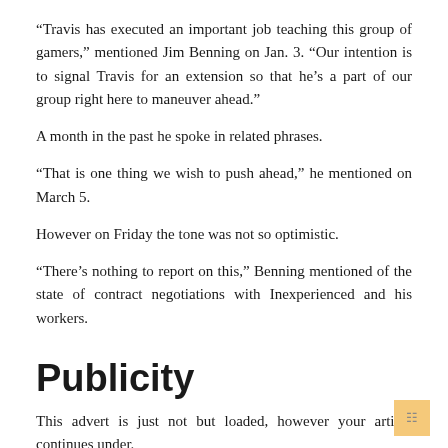“Travis has executed an important job teaching this group of gamers,” mentioned Jim Benning on Jan. 3. “Our intention is to signal Travis for an extension so that he’s a part of our group right here to maneuver ahead.”
A month in the past he spoke in related phrases.
“That is one thing we wish to push ahead,” he mentioned on March 5.
However on Friday the tone was not so optimistic.
“There’s nothing to report on this,” Benning mentioned of the state of contract negotiations with Inexperienced and his workers.
Publicity
This advert is just not but loaded, however your article continues under.